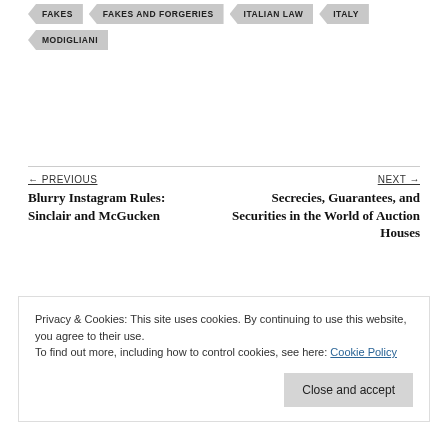FAKES
FAKES AND FORGERIES
ITALIAN LAW
ITALY
MODIGLIANI
← PREVIOUS
Blurry Instagram Rules: Sinclair and McGucken
NEXT →
Secrecies, Guarantees, and Securities in the World of Auction Houses
Privacy & Cookies: This site uses cookies. By continuing to use this website, you agree to their use.
To find out more, including how to control cookies, see here: Cookie Policy